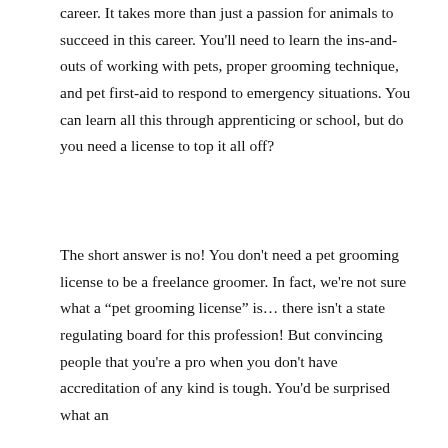career. It takes more than just a passion for animals to succeed in this career. You'll need to learn the ins-and-outs of working with pets, proper grooming technique, and pet first-aid to respond to emergency situations. You can learn all this through apprenticing or school, but do you need a license to top it all off?
The short answer is no! You don't need a pet grooming license to be a freelance groomer. In fact, we're not sure what a “pet grooming license” is… there isn't a state regulating board for this profession! But convincing people that you're a pro when you don't have accreditation of any kind is tough. You'd be surprised what an